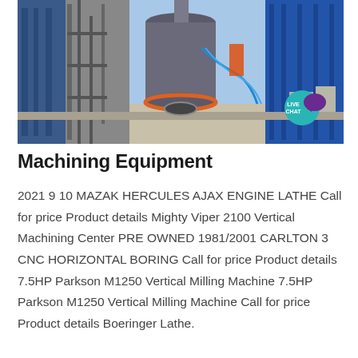[Figure (photo): Industrial machining equipment yard showing large cylindrical mill grinder, blue metal framework structures, hoses, and concrete blocks outdoors under clear sky. A 'LIVE CHAT' badge appears in the top-right corner of the image.]
Machining Equipment
2021 9 10 MAZAK HERCULES AJAX ENGINE LATHE Call for price Product details Mighty Viper 2100 Vertical Machining Center PRE OWNED 1981/2001 CARLTON 3 CNC HORIZONTAL BORING Call for price Product details 7.5HP Parkson M1250 Vertical Milling Machine 7.5HP Parkson M1250 Vertical Milling Machine Call for price Product details Boeringer Lathe.